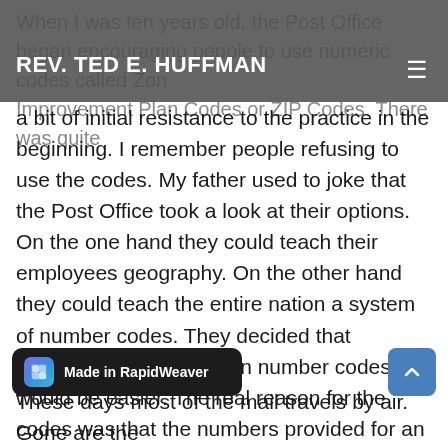REV. TED E. HUFFMAN
When I was ten years old, the Post Office began encouraging people to use numeric codes called Zone Improvement Plan Codes or ZIP Codes. There was quite a bit of initial resistance to the practice in the beginning. I remember people refusing to use the codes. My father used to joke that the Post Office took a look at their options. On the one hand they could teach their employees geography. On the other hand they could teach the entire nation a system of number codes. They decided that teaching the entire nation number codes would be easier. The real reason for the codes was that the numbers provided for an increase in automation in the process of sorting the mail. These days we take the codes and the automatic sorting of mail for granted. Most of us have not only adopted the five digit ZIP codes, but also have learned to use the additional four digits that allow for even faster sorting of
These days most of the mail travels by air. Gone are the